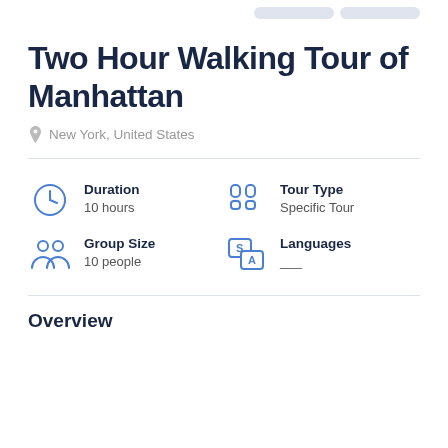Two Hour Walking Tour of Manhattan
New York, United States
Duration
10 hours
Tour Type
Specific Tour
Group Size
10 people
Languages
___
Overview